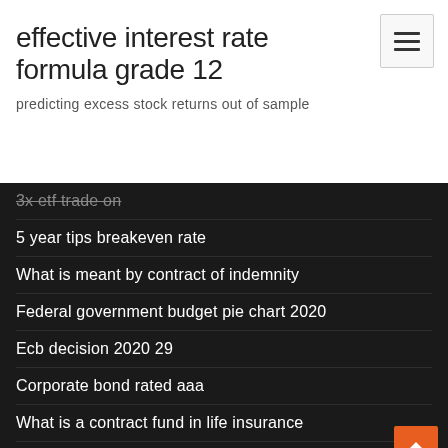effective interest rate formula grade 12
predicting excess stock returns out of sample
3x etf trade on
5 year tips breakeven rate
What is meant by contract of indemnity
Federal government budget pie chart 2020
Ecb decision 2020 29
Corporate bond rated aaa
What is a contract fund in life insurance
Loans for adverse credit rating
Visa prepaid card online shopping